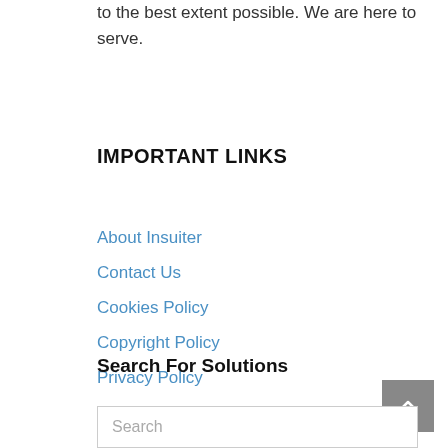to the best extent possible. We are here to serve.
IMPORTANT LINKS
About Insuiter
Contact Us
Cookies Policy
Copyright Policy
Privacy Policy
Terms & Conditions
Search For Solutions